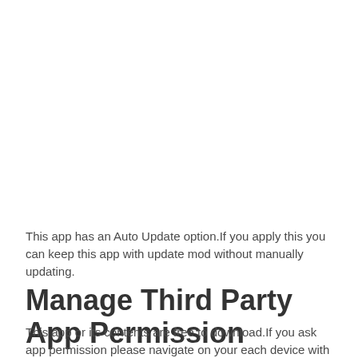This app has an Auto Update option.If you apply this you can keep this app with update mod without manually updating.
Manage Third Party App Permission
This app or its contents are free to download.If you ask app permission please navigate on your each device with following steps.